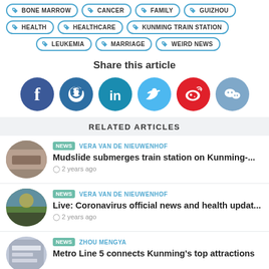BONE MARROW
CANCER
FAMILY
GUIZHOU
HEALTH
HEALTHCARE
KUNMING TRAIN STATION
LEUKEMIA
MARRIAGE
WEIRD NEWS
Share this article
[Figure (infographic): Social share buttons: Facebook, Reddit, LinkedIn, Twitter, Weibo, WeChat]
RELATED ARTICLES
NEWS  VERA VAN DE NIEUWENHOF
Mudslide submerges train station on Kunming-...
2 years ago
NEWS  VERA VAN DE NIEUWENHOF
Live: Coronavirus official news and health updat...
2 years ago
NEWS  ZHOU MENGYA
Metro Line 5 connects Kunming's top attractions